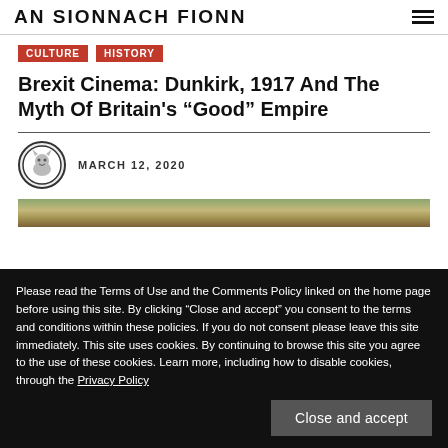AN SIONNACH FIONN
CULTURE
HISTORY
Brexit Cinema: Dunkirk, 1917 And The Myth Of Britain's "Good" Empire
MARCH 12, 2020
[Figure (photo): Landscape/historical image strip behind cookie consent overlay]
Please read the Terms of Use and the Comments Policy linked on the home page before using this site. By clicking "Close and accept" you consent to the terms and conditions within these policies. If you do not consent please leave this site immediately. This site uses cookies. By continuing to browse this site you agree to the use of these cookies. Learn more, including how to disable cookies, through the Privacy Policy
[Figure (photo): Bottom portion of historical illustration visible below cookie overlay]